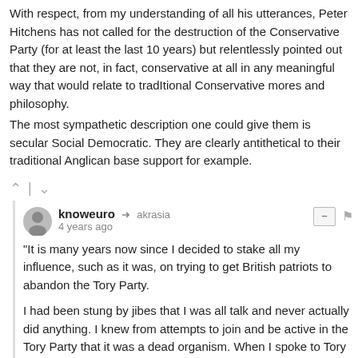With respect, from my understanding of all his utterances, Peter Hitchens has not called for the destruction of the Conservative Party (for at least the last 10 years) but relentlessly pointed out that they are not, in fact, conservative at all in any meaningful way that would relate to tradItional Conservative mores and philosophy.
The most sympathetic description one could give them is secular Social Democratic. They are clearly antithetical to their traditional Anglican base support for example.
knoweuro → akrasia
4 years ago
"It is many years now since I decided to stake all my influence, such as it was, on trying to get British patriots to abandon the Tory Party.

I had been stung by jibes that I was all talk and never actually did anything. I knew from attempts to join and be active in the Tory Party that it was a dead organism. When I spoke to Tory meetings I struggled to know how to end my